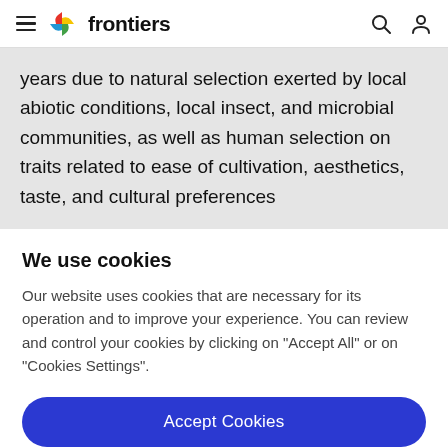frontiers
years due to natural selection exerted by local abiotic conditions, local insect, and microbial communities, as well as human selection on traits related to ease of cultivation, aesthetics, taste, and cultural preferences
We use cookies
Our website uses cookies that are necessary for its operation and to improve your experience. You can review and control your cookies by clicking on "Accept All" or on "Cookies Settings".
Accept Cookies
Cookies Settings